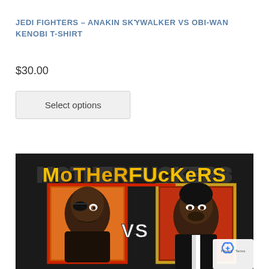JEDI FIGHTERS – ANAKIN SKYWALKER VS OBI-WAN KENOBI T-SHIRT
$30.00
Select options
[Figure (photo): T-shirt graphic showing two illustrated characters in a fighting game style with the text 'MOTHERFUCKERS' and a 'VS' between two portrait panels on a dark background]